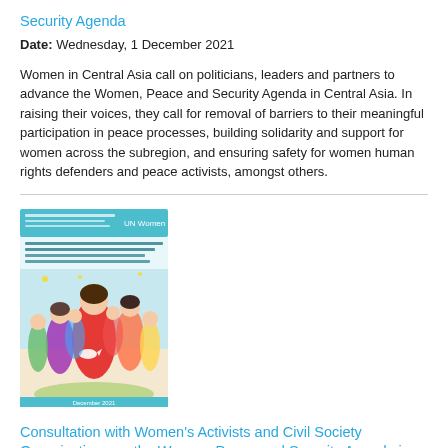Security Agenda
Date: Wednesday, 1 December 2021
Women in Central Asia call on politicians, leaders and partners to advance the Women, Peace and Security Agenda in Central Asia. In raising their voices, they call for removal of barriers to their meaningful participation in peace processes, building solidarity and support for women across the subregion, and ensuring safety for women human rights defenders and peace activists, amongst others.
[Figure (illustration): Book cover for 'Consultation with Women's Activists and Civil Society Organizations on the Women, Peace and Security Agenda in Central Asia' showing illustrated women figures on a colorful background with a dove, published by UN Women]
Consultation with Women's Activists and Civil Society Organizations on the Women, Peace and Security Agenda in Central Asia
Date: Wednesday, 1 December 2021